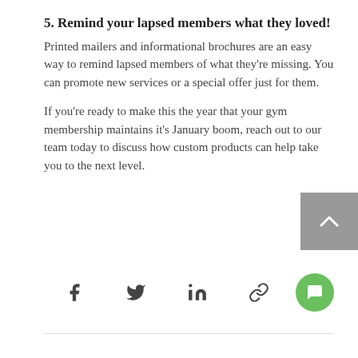5. Remind your lapsed members what they loved!
Printed mailers and informational brochures are an easy way to remind lapsed members of what they're missing. You can promote new services or a special offer just for them.
If you're ready to make this the year that your gym membership maintains it's January boom, reach out to our team today to discuss how custom products can help take you to the next level.
[Figure (other): Row of social share icons: Facebook, Twitter, LinkedIn, link icon, and a green chat button]